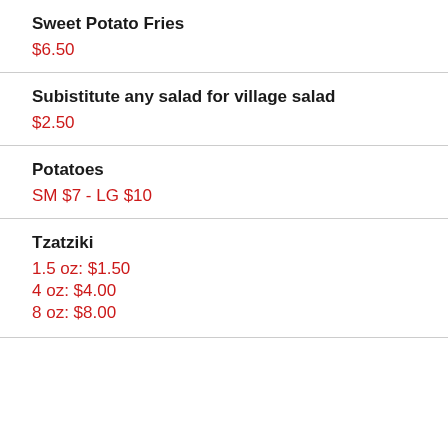Sweet Potato Fries
$6.50
Subistitute any salad for village salad
$2.50
Potatoes
SM $7 - LG $10
Tzatziki
1.5 oz: $1.50
4 oz: $4.00
8 oz: $8.00